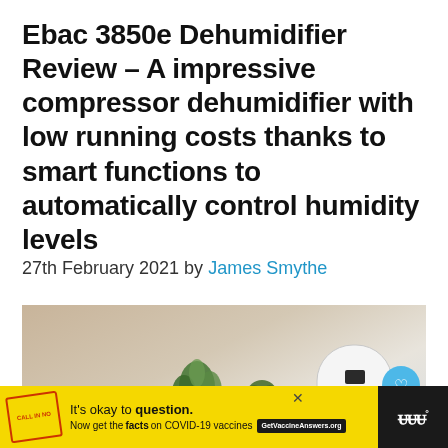Ebac 3850e Dehumidifier Review – A impressive compressor dehumidifier with low running costs thanks to smart functions to automatically control humidity levels
27th February 2021 by James Smythe
[Figure (photo): Photo of a white dehumidifier device on the right side, next to a white coffee table with a plant, a small pot plant, and a book/tablet on it. Social share buttons (heart and share) visible on the right edge.]
It's okay to question. Now get the facts on COVID-19 vaccines GetVaccineAnswers.org